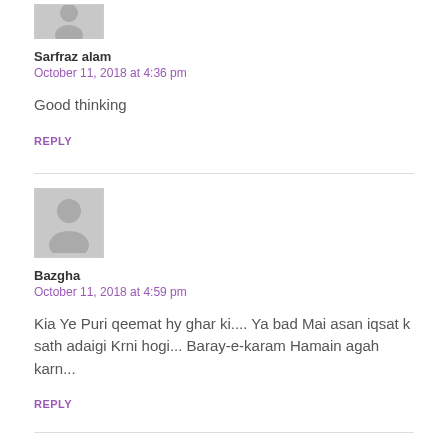[Figure (illustration): Partial avatar placeholder icon (top portion) for Sarfraz alam]
Sarfraz alam
October 11, 2018 at 4:36 pm
Good thinking
REPLY
[Figure (illustration): Gray placeholder avatar with silhouette person icon for Bazgha]
Bazgha
October 11, 2018 at 4:59 pm
Kia Ye Puri qeemat hy ghar ki.... Ya bad Mai asan iqsat k sath adaigi Krni hogi... Baray-e-karam Hamain agah karn...
REPLY